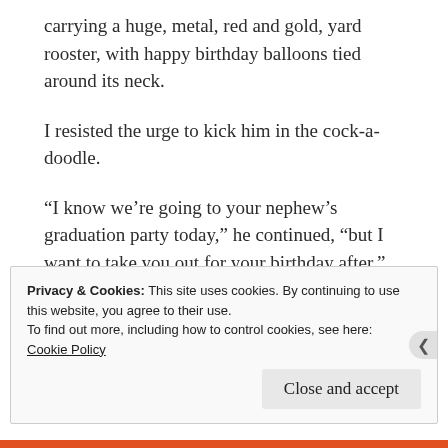carrying a huge, metal, red and gold, yard rooster, with happy birthday balloons tied around its neck.
I resisted the urge to kick him in the cock-a-doodle.
“I know we’re going to your nephew’s graduation party today,” he continued, “but I want to take you out for your birthday after.”
I looked up at him expectantly.
Privacy & Cookies: This site uses cookies. By continuing to use this website, you agree to their use.
To find out more, including how to control cookies, see here: Cookie Policy